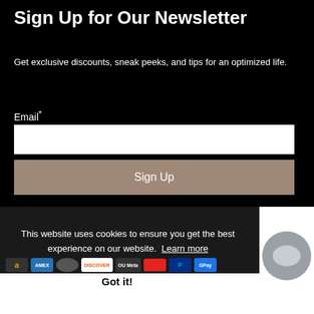Sign Up for Our Newsletter
Get exclusive discounts, sneak peeks, and tips for an optimized life.
Email*
Sign Up
This website uses cookies to ensure you get the best experience on our website. Learn more
Got it! VISA